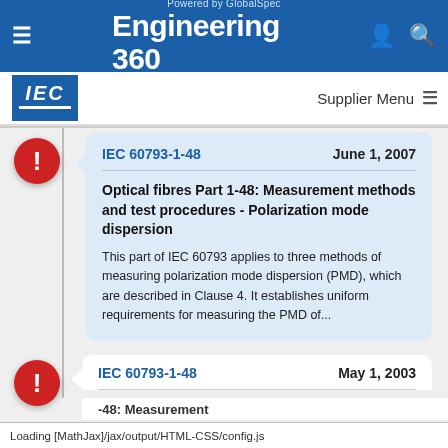Engineering 360 — Powered by GlobalSpec
[Figure (logo): IEC logo — blue square with IEC text and underline]
Supplier Menu
IEC 60793-1-48   June 1, 2007
Optical fibres Part 1-48: Measurement methods and test procedures - Polarization mode dispersion
This part of IEC 60793 applies to three methods of measuring polarization mode dispersion (PMD), which are described in Clause 4. It establishes uniform requirements for measuring the PMD of...
IEC 60793-1-48   May 1, 2003
Loading [MathJax]/jax/output/HTML-CSS/config.js